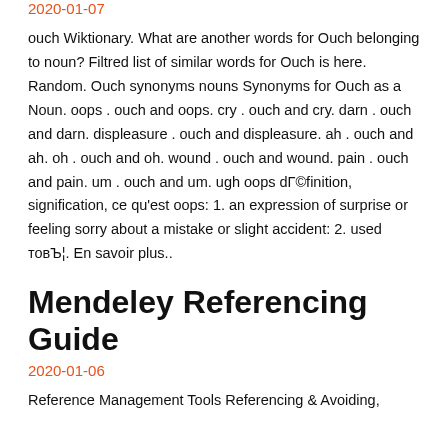2020-01-07
ouch Wiktionary. What are another words for Ouch belonging to noun? Filtred list of similar words for Ouch is here. Random. Ouch synonyms nouns Synonyms for Ouch as a Noun. oops . ouch and oops. cry . ouch and cry. darn . ouch and darn. displeasure . ouch and displeasure. ah . ouch and ah. oh . ouch and oh. wound . ouch and wound. pain . ouch and pain. um . ouch and um. ugh oops définition, signification, ce qu'est oops: 1. an expression of surprise or feeling sorry about a mistake or slight accident: 2. used to​… En savoir plus..
Mendeley Referencing Guide
2020-01-06
Reference Management Tools Referencing & Avoiding,